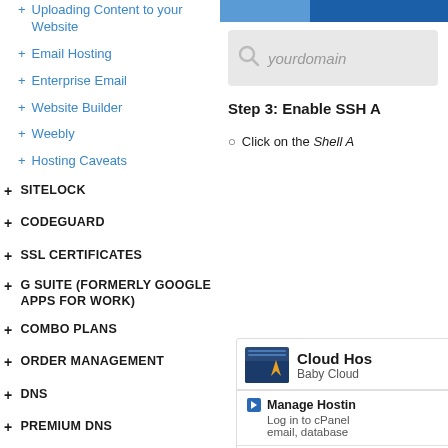+ Uploading Content to your Website
+ Email Hosting
+ Enterprise Email
+ Website Builder
+ Weebly
+ Hosting Caveats
+ SITELOCK
+ CODEGUARD
+ SSL CERTIFICATES
+ G SUITE (FORMERLY GOOGLE APPS FOR WORK)
+ COMBO PLANS
+ ORDER MANAGEMENT
+ DNS
+ PREMIUM DNS
+ DOMAIN / URL FORWARDING
+ FREE EMAIL SERVICE
Step 3: Enable SSH A
Click on the Shell A
[Figure (screenshot): Cloud Hosting panel card showing 'Cloud Hos' title, 'Baby Cloud' subtitle, 'Manage Hosting' section with description 'Log in to cPanel email, database', and 'Shell Access C' section with description 'Get Secure shell']